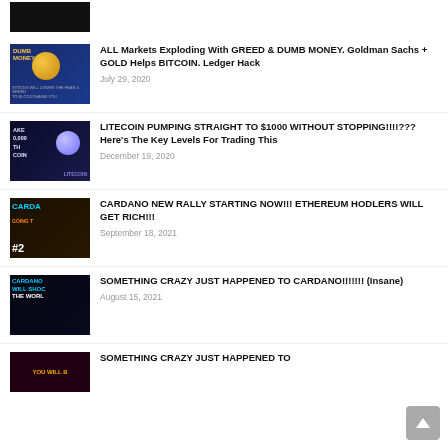[Figure (screenshot): Partial thumbnail of a video at top, cropped]
[Figure (screenshot): Thumbnail: DUMB MONEY video with coin graphic and person]
ALL Markets Exploding With GREED & DUMB MONEY. Goldman Sachs + GOLD Helps BITCOIN. Ledger Hack
July 29, 2020
[Figure (screenshot): Thumbnail: Litecoin pumping video with coin graphic]
LITECOIN PUMPING STRAIGHT TO $1000 WITHOUT STOPPING!!!!??? Here's The Key Levels For Trading This
December 19, 2020
[Figure (screenshot): Thumbnail: Cardano rally video with chart graphic]
CARDANO NEW RALLY STARTING NOW!!! ETHEREUM HODLERS WILL GET RICH!!!
September 18, 2021
[Figure (screenshot): Thumbnail: Something crazy happened to Cardano video]
SOMETHING CRAZY JUST HAPPENED TO CARDANO!!!!!!! (Insane)
August 15, 2021
[Figure (screenshot): Partial thumbnail at bottom]
SOMETHING CRAZY JUST HAPPENED TO